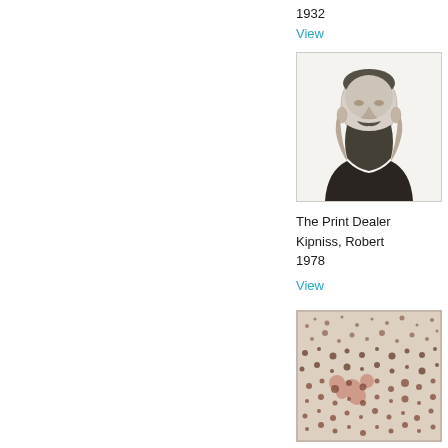1932
View
[Figure (photo): Black and white portrait sketch of a man with a beard and mustache, head and shoulders view, dark clothing]
The Print Dealer
Kipniss, Robert
1978
View
[Figure (photo): Landscape image with scattered brown and reddish dots/marks on a light background, appears to be an abstract or natural texture]